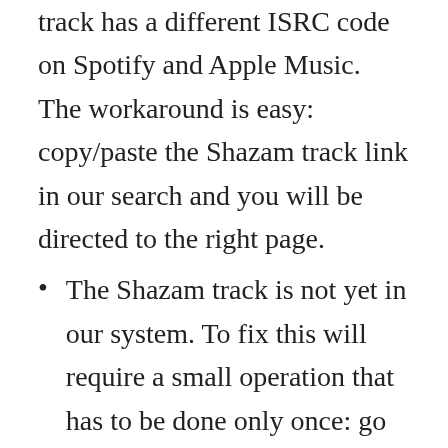track has a different ISRC code on Spotify and Apple Music. The workaround is easy: copy/paste the Shazam track link in our search and you will be directed to the right page.
The Shazam track is not yet in our system. To fix this will require a small operation that has to be done only once: go on the Track page on the Shazam tab, click the button 'Add a shazam song' and then copy/paste the Shazam track link. If the ISRC code matches, the Shazam track will be linked within a few seconds. It may then take a few hours before we start collecting data, which will happen...